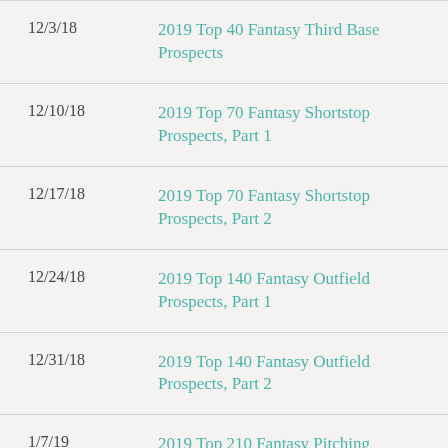| Date | Title |
| --- | --- |
| 12/3/18 | 2019 Top 40 Fantasy Third Base Prospects |
| 12/10/18 | 2019 Top 70 Fantasy Shortstop Prospects, Part 1 |
| 12/17/18 | 2019 Top 70 Fantasy Shortstop Prospects, Part 2 |
| 12/24/18 | 2019 Top 140 Fantasy Outfield Prospects, Part 1 |
| 12/31/18 | 2019 Top 140 Fantasy Outfield Prospects, Part 2 |
| 1/7/19 | 2019 Top 210 Fantasy Pitching Prospects, Part 1 |
| 1/16/19 | 2019 Top 210 Fantasy Pitching Prospects, |